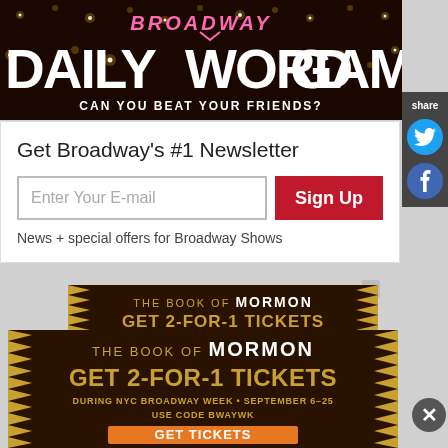[Figure (illustration): Broadway Daily Word Game banner with pink 'Broadway' text above large white 'DAILY WORD GAME' text, subtitle 'CAN YOU BEAT YOUR FRIENDS?' on dark gold starry background]
share
Get Broadway's #1 Newsletter
Enter Your E-mail
Sign Up
News + special offers for Broadway Shows
[Figure (advertisement): The Book of Mormon ad - GET 2-FOR-1 TICKETS DURING NYC BROADWAY WEEK • SEPTEMBER 6-25 (partial, upper ad)]
[Figure (advertisement): The Book of Mormon ad - GET 2-FOR-1 TICKETS DURING NYC BROADWAY WEEK • SEPTEMBER 6-25 USE CODE BWAYWK GET TICKETS (main, lower ad with orange GET TICKETS button)]